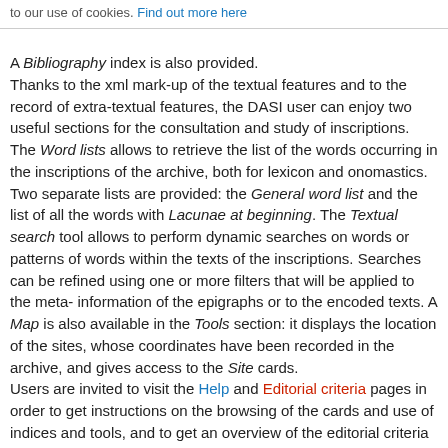to our use of cookies. Find out more here
A Bibliography index is also provided. Thanks to the xml mark-up of the textual features and to the record of extra-textual features, the DASI user can enjoy two useful sections for the consultation and study of inscriptions. The Word lists allows to retrieve the list of the words occurring in the inscriptions of the archive, both for lexicon and onomastics. Two separate lists are provided: the General word list and the list of all the words with Lacunae at beginning. The Textual search tool allows to perform dynamic searches on words or patterns of words within the texts of the inscriptions. Searches can be refined using one or more filters that will be applied to the meta-information of the epigraphs or to the encoded texts. A Map is also available in the Tools section: it displays the location of the sites, whose coordinates have been recorded in the archive, and gives access to the Site cards. Users are invited to visit the Help and Editorial criteria pages in order to get instructions on the browsing of the cards and use of indices and tools, and to get an overview of the editorial criteria followed in cataloguing.
Archive: digitization – The digitization of the pre-Islamic Arabian